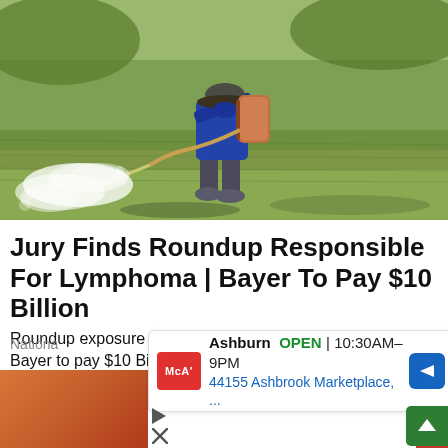[Figure (photo): A farmer wearing a hat and blue long-sleeve shirt walks through a green rice field while using a backpack sprayer to spray pesticide (Roundup), producing a white mist.]
Jury Finds Roundup Responsible For Lymphoma | Bayer To Pay $10 Billion
Roundup exposure linked to Non-Hodgkin's Lymphoma. Bayer to pay $10 Billion Settlement. See...
Nationa
Ashburn OPEN | 10:30AM–9PM
44155 Ashbrook Marketplace, ...